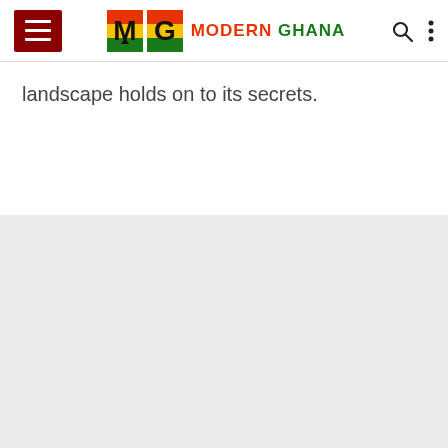Modern Ghana
landscape holds on to its secrets.